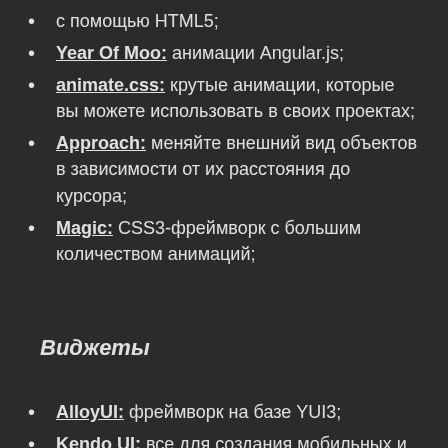с помощью HTML5;
Year Of Moo: анимации Angular.js;
animate.css: крутые анимации, которые вы можете использовать в своих проектах;
Approach: меняйте внешний вид объектов в зависимости от их расстояния до курсора;
Magic: CSS3-фреймворк с большим количеством анимаций;
Виджеты
AlloyUI: фреймворк на базе YUI3;
Kendo UI: все для создания мобильных и веб-приложений с HTML5 и JavaScript;
jQuery UI Bootstrap: тема Bootstrap для jQuery UI;
jQuery Bootstrap: об...